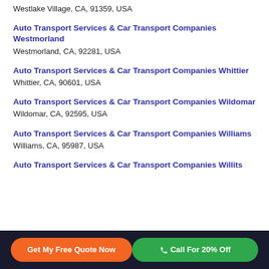Westlake Village, CA, 91359, USA
Auto Transport Services & Car Transport Companies Westmorland
Westmorland, CA, 92281, USA
Auto Transport Services & Car Transport Companies Whittier
Whittier, CA, 90601, USA
Auto Transport Services & Car Transport Companies Wildomar
Wildomar, CA, 92595, USA
Auto Transport Services & Car Transport Companies Williams
Williams, CA, 95987, USA
Auto Transport Services & Car Transport Companies Willits
Get My Free Quote Now | Call For 20% Off